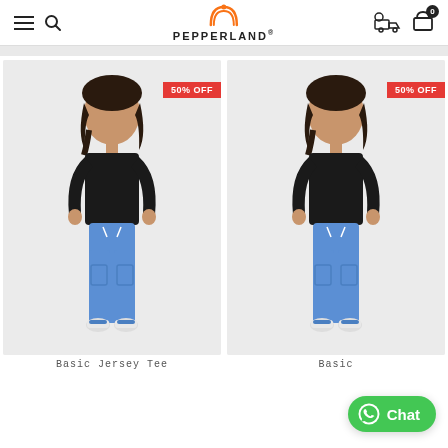Pepperland - navigation header with hamburger menu, search icon, logo, delivery icon, cart (0)
[Figure (photo): Child model wearing a black long-sleeve top and blue jeans, white sneakers, with a 50% OFF badge, product: Basic Jersey Tee]
Basic Jersey Tee
[Figure (photo): Child model wearing a black long-sleeve top and blue jeans, white sneakers, with a 50% OFF badge, product: Basic (partially obscured by Chat button)]
Basic
[Figure (other): Green WhatsApp Chat button in bottom right corner]